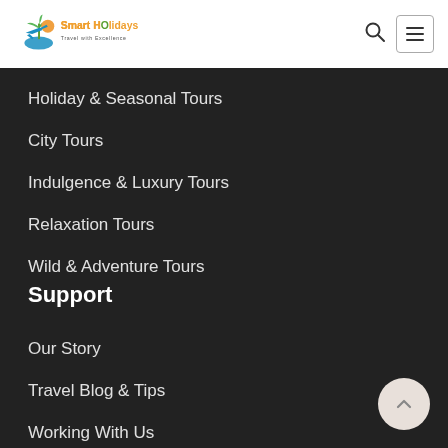[Figure (logo): Smart Holidays Travel with Excellence logo — colorful icon with palm tree and airplane, orange and green text]
Holiday & Seasonal Tours
City Tours
Indulgence & Luxury Tours
Relaxation Tours
Wild & Adventure Tours
Support
Our Story
Travel Blog & Tips
Working With Us